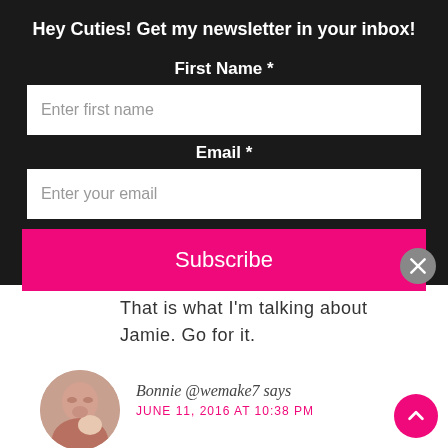Hey Cuties! Get my newsletter in your inbox!
First Name *
Enter first name
Email *
Enter your email
Subscribe
That is what I'm talking about Jamie. Go for it.
Bonnie @wemake7 says
JUNE 11, 2016 AT 10:38 PM